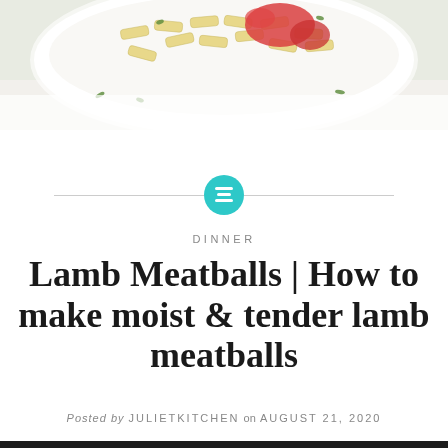[Figure (photo): Top portion of a white bowl filled with penne pasta, tomato sauce, and herbs on a light background]
DINNER
Lamb Meatballs | How to make moist & tender lamb meatballs
Posted by JULIETKITCHEN on AUGUST 21, 2020